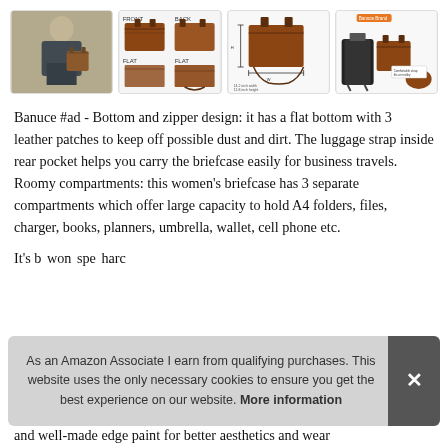[Figure (photo): Four product thumbnail images of a brown leather women's briefcase: (1) lifestyle photo of woman carrying bag, (2) four-angle flat-lay product shots, (3) dimension diagram of bag with measurements, (4) compatibility diagram showing bag with luggage and accessories]
Banuce #ad - Bottom and zipper design: it has a flat bottom with 3 leather patches to keep off possible dust and dirt. The luggage strap inside rear pocket helps you carry the briefcase easily for business travels. Roomy compartments: this women's briefcase has 3 separate compartments which offer large capacity to hold A4 folders, files, charger, books, planners, umbrella, wallet, cell phone etc.
It's b... won... spe... harc...
and well-made edge paint for better aesthetics and wear
As an Amazon Associate I earn from qualifying purchases. This website uses the only necessary cookies to ensure you get the best experience on our website. More information